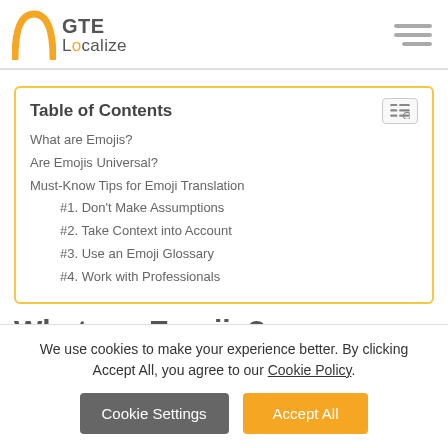GTE Localize
Table of Contents
What are Emojis?
Are Emojis Universal?
Must-Know Tips for Emoji Translation
#1. Don't Make Assumptions
#2. Take Context into Account
#3. Use an Emoji Glossary
#4. Work with Professionals
What are Emojis?
We use cookies to make your experience better. By clicking Accept All, you agree to our Cookie Policy.